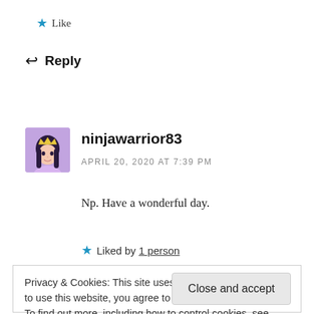★ Like
↩ Reply
[Figure (illustration): Avatar image of ninjawarrior83 — cartoon girl with long dark hair wearing a crown, purple/lavender color scheme]
ninjawarrior83
APRIL 20, 2020 AT 7:39 PM
Np. Have a wonderful day.
★ Liked by 1 person
Privacy & Cookies: This site uses cookies. By continuing to use this website, you agree to their use.
To find out more, including how to control cookies, see here: Cookie Policy
You tooooo honey 🤗